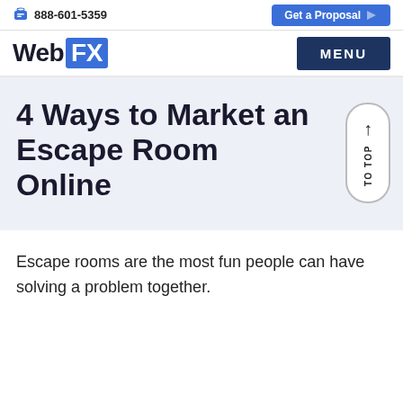888-601-5359  Get a Proposal
WebFX  MENU
4 Ways to Market an Escape Room Online
Escape rooms are the most fun people can have solving a problem together.